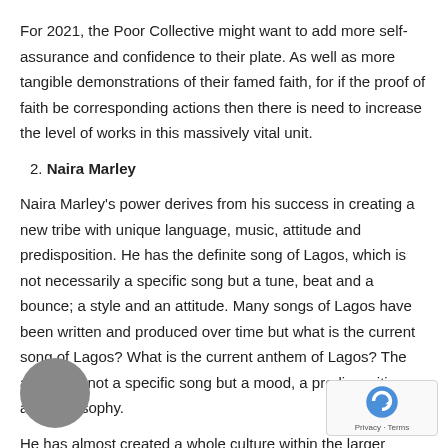For 2021, the Poor Collective might want to add more self-assurance and confidence to their plate. As well as more tangible demonstrations of their famed faith, for if the proof of faith be corresponding actions then there is need to increase the level of works in this massively vital unit.
2. Naira Marley
Naira Marley's power derives from his success in creating a new tribe with unique language, music, attitude and predisposition. He has the definite song of Lagos, which is not necessarily a specific song but a tune, beat and a bounce; a style and an attitude. Many songs of Lagos have been written and produced over time but what is the current song of Lagos? What is the current anthem of Lagos? The answer is not a specific song but a mood, a predisposition and philosophy.
He has almost created a whole culture within the larger